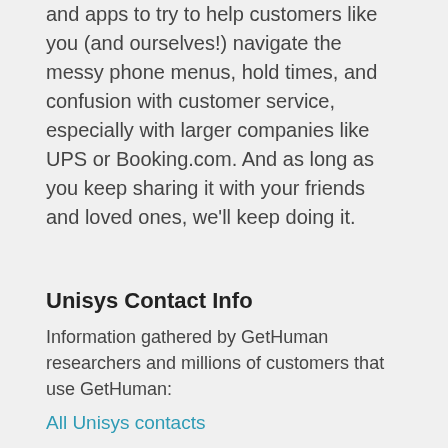and apps to try to help customers like you (and ourselves!) navigate the messy phone menus, hold times, and confusion with customer service, especially with larger companies like UPS or Booking.com. And as long as you keep sharing it with your friends and loved ones, we'll keep doing it.
Unisys Contact Info
Information gathered by GetHuman researchers and millions of customers that use GetHuman:
All Unisys contacts
Unisys Phone Number  BEST
General customer information